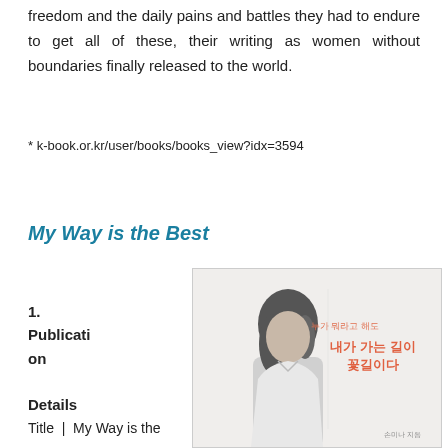freedom and the daily pains and battles they had to endure to get all of these, their writing as women without boundaries finally released to the world.
* k-book.or.kr/user/books/books_view?idx=3594
My Way is the Best
1.
Publication Details
[Figure (photo): Book cover of '내가 가는 길이 꽃길이다' (My Way is the Best) showing a Korean woman in a white shirt with long wavy hair, black and white photo. Korean text in orange/red reads '누가 뭐라고 해도' (subtitle) and '내가 가는 길이 꽃길이다' (title). Author name '손미나 지음' at bottom right.]
Title | My Way is the